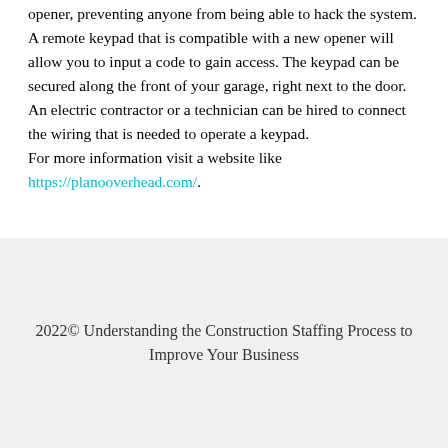opener, preventing anyone from being able to hack the system. A remote keypad that is compatible with a new opener will allow you to input a code to gain access. The keypad can be secured along the front of your garage, right next to the door. An electric contractor or a technician can be hired to connect the wiring that is needed to operate a keypad. For more information visit a website like https://planooverhead.com/.
2022© Understanding the Construction Staffing Process to Improve Your Business